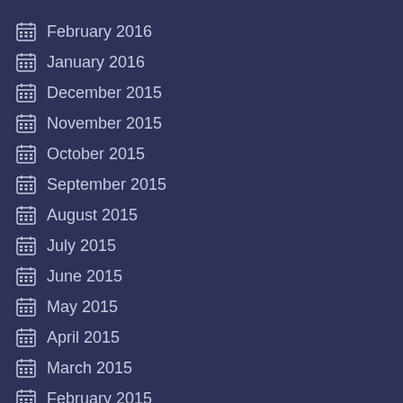February 2016
January 2016
December 2015
November 2015
October 2015
September 2015
August 2015
July 2015
June 2015
May 2015
April 2015
March 2015
February 2015
January 2015